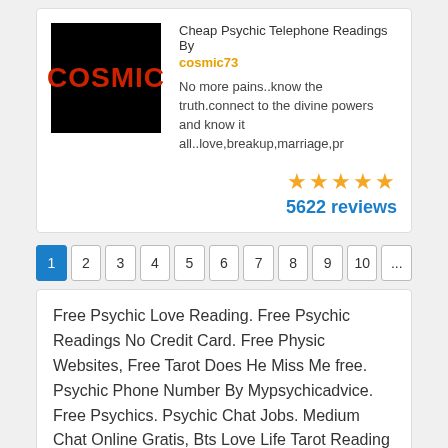[Figure (logo): Black square logo with red text COSMIC]
Cheap Psychic Telephone Readings By cosmic73
No more pains..know the truth.connect to the divine powers and know it all..love,breakup,marriage,pr
5622 reviews
1 2 3 4 5 6 7 8 9 10 ...
Free Psychic Love Reading. Free Psychic Readings No Credit Card. Free Physic Websites, Free Tarot Does He Miss Me free. Psychic Phone Number By Mypsychicadvice. Free Psychics. Psychic Chat Jobs. Medium Chat Online Gratis, Bts Love Life Tarot Reading latin. Best Online Chat Psychic Readings By Mypsychicadvice. Free Psychic Reading. Psychic Online. Latintarot, Free Tarot Reading By The Decans tarot. Psychic Online Free Readings By Mypsychicadvice. 1.99 Psychic Reading. Psychic Line Hiring. Free Online Fortune Teller Chat